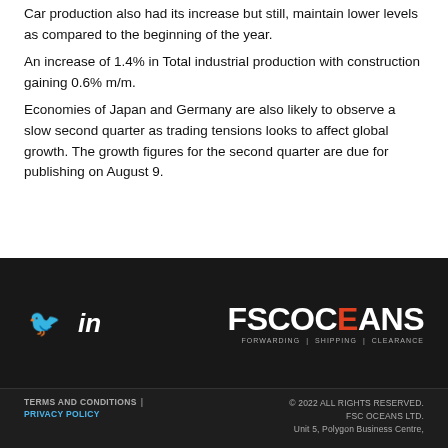Car production also had its increase but still, maintain lower levels as compared to the beginning of the year.
An increase of 1.4% in Total industrial production with construction gaining 0.6% m/m.
Economies of Japan and Germany are also likely to observe a slow second quarter as trading tensions looks to affect global growth. The growth figures for the second quarter are due for publishing on August 9.
Twitter and LinkedIn social icons | FSC OCEANS logo | FORWARDING | SHIPPING | CLEARANCE
TERMS AND CONDITIONS | PRIVACY POLICY | © 2022 ALL RIGHTS RESERVED. FSC OCEANS LTD. Unit 5, Polygon Business Centre,